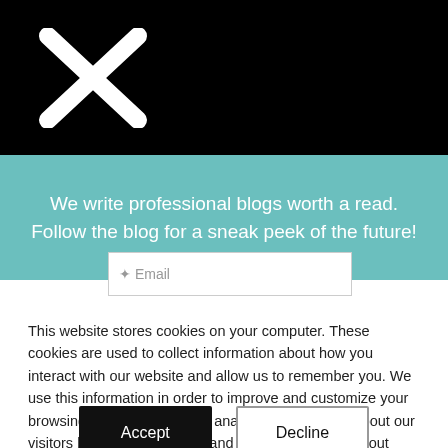[Figure (logo): White X-shaped logo on black background]
We write professional blogs worth a read. Follow the blog for a sneak peek of the future!
Email
This website stores cookies on your computer. These cookies are used to collect information about how you interact with our website and allow us to remember you. We use this information in order to improve and customize your browsing experience and for analytics and metrics about our visitors both on this website and other media. To find out more about the cookies we use, see our Privacy Policy.
If you decline, your information won't be tracked when you visit this website. A single cookie will be used in your browser to remember your preference not to be tracked.
Accept
Decline